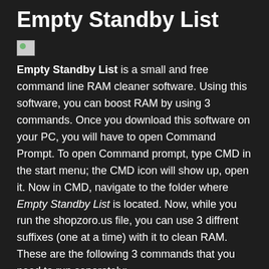Empty Standby List
[Figure (illustration): Broken image placeholder thumbnail (small icon)]
Empty Standby List is a small and free command line RAM cleaner software. Using this software, you can boost RAM by using 3 commands. Once you download this software on your PC, you will have to open Command Prompt. To open Command prompt, type CMD in the start menu; the CMD icon will show up, open it. Now in CMD, navigate to the folder where Empty Standby List is located. Now, while you run the shopzoro.us file, you can use 3 diffrent suffixes (one at a time) with it to clean RAM. These are the following 3 commands that you need to run separately:
shopzoro.us standby list
shopzoro.us modified page list